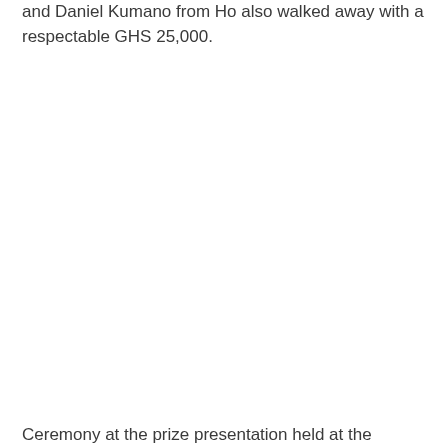and Daniel Kumano from Ho also walked away with a respectable GHS 25,000.
Ceremony at the prize presentation held at the